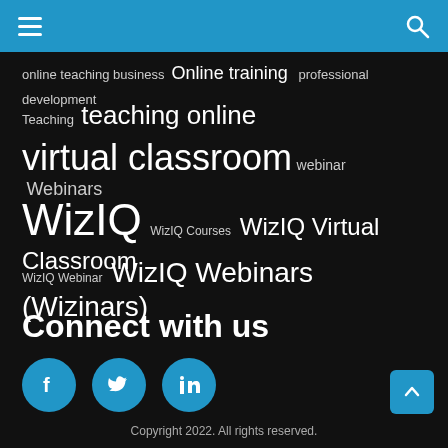Navigation bar with hamburger menu and search icon
online teaching business  Online training  professional development
Teaching  teaching online
virtual classroom  webinar  Webinars
WizIQ  WizIQ Courses  WizIQ Virtual Classroom
WizIQ Webinar  WizIQ Webinars (Wizinars)
Connect with us
[Figure (infographic): Three circular social media icons: Facebook, Twitter, LinkedIn in blue circles]
Copyright 2022. All rights reserved.